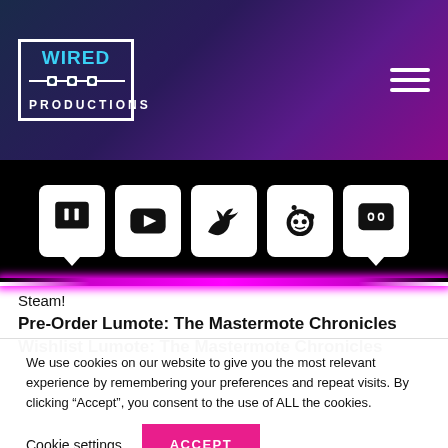Wired Productions — navigation header with logo and hamburger menu
[Figure (other): Social media icons row: Twitch, YouTube, Twitter, Reddit, Discord on black background]
Steam!
Pre-Order Lumote: The Mastermote Chronicles
Wishlist Lumote: The Mastermote Chronicles
We use cookies on our website to give you the most relevant experience by remembering your preferences and repeat visits. By clicking "Accept", you consent to the use of ALL the cookies.
Cookie settings  ACCEPT